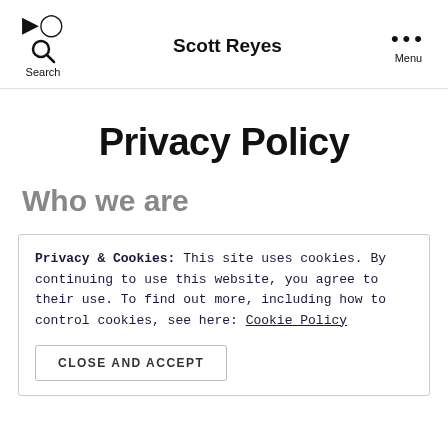Search   Scott Reyes   Menu
Privacy Policy
Who we are
Privacy & Cookies: This site uses cookies. By continuing to use this website, you agree to their use.
To find out more, including how to control cookies, see here: Cookie Policy

CLOSE AND ACCEPT